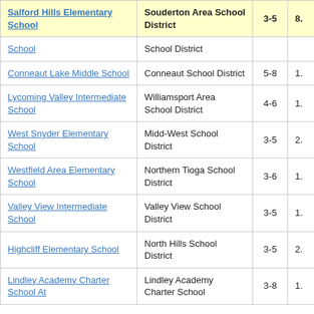| School | District | Grades |  |
| --- | --- | --- | --- |
| Salford Hills Elementary School | Souderton Area School District | 3-5 | 8. |
| School | School District |  |  |
| Conneaut Lake Middle School | Conneaut School District | 5-8 | 1. |
| Lycoming Valley Intermediate School | Williamsport Area School District | 4-6 | 1. |
| West Snyder Elementary School | Midd-West School District | 3-5 | 2. |
| Westfield Area Elementary School | Northern Tioga School District | 3-6 | 1. |
| Valley View Intermediate School | Valley View School District | 3-5 | 1. |
| Highcliff Elementary School | North Hills School District | 3-5 | 2. |
| Lindley Academy Charter School At | Lindley Academy Charter School | 3-8 | 1. |